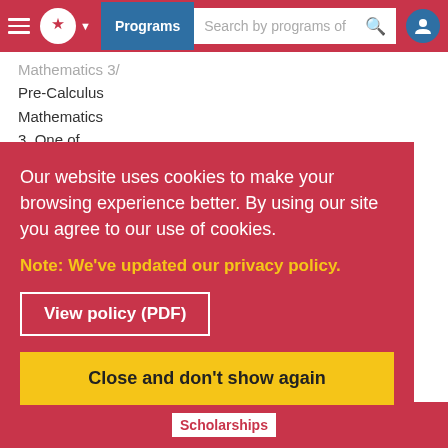Programs | Search by programs of
Mathematics 3/
Pre-Calculus Mathematics
3. One of
Biology,
Chemistry,
Physics,
Computer Science
International:
$19,800
Our website uses cookies to make your browsing experience better. By using our site you agree to our use of cookies.
Note: We've updated our privacy policy.
View policy (PDF)
Close and don't show again
Scholarships